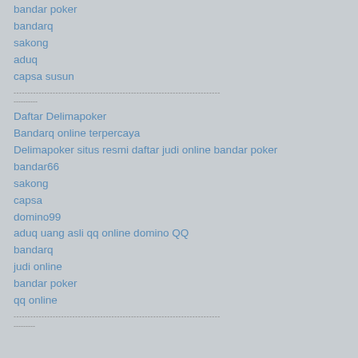bandar poker
bandarq
sakong
aduq
capsa susun
--------------------------------------------------------------------------
----------
Daftar Delimapoker
Bandarq online terpercaya
Delimapoker situs resmi daftar judi online bandar poker
bandar66
sakong
capsa
domino99
aduq uang asli qq online domino QQ
bandarq
judi online
bandar poker
qq online
--------------------------------------------------------------------------
---------